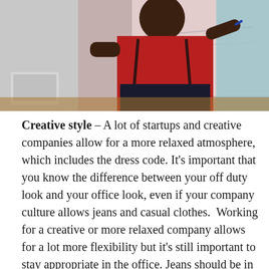[Figure (photo): A person in a red shirt writing on a whiteboard, with a laptop visible on the left and another person partially visible on the right. Classroom or office presentation setting.]
Creative style – A lot of startups and creative companies allow for a more relaxed atmosphere, which includes the dress code. It's important that you know the difference between your off duty look and your office look, even if your company culture allows jeans and casual clothes. Working for a creative or more relaxed company allows for a lot more flexibility but it's still important to stay appropriate in the office. Jeans should be in good repair (dark denim looks more professional – keep the ripped and faded look for the weekend.) If you're wearing a tee